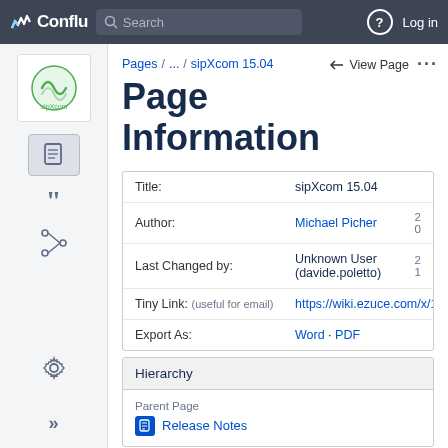Confluence — Search — Log in
Pages / ... / sipXcom 15.04
Page Information
| Field | Value |
| --- | --- |
| Title: | sipXcom 15.04 |
| Author: | Michael Picher |
| Last Changed by: | Unknown User (davide.poletto) |
| Tiny Link: (useful for email) | https://wiki.ezuce.com/x/1oMgAg |
| Export As: | Word · PDF |
Hierarchy
Parent Page
Release Notes